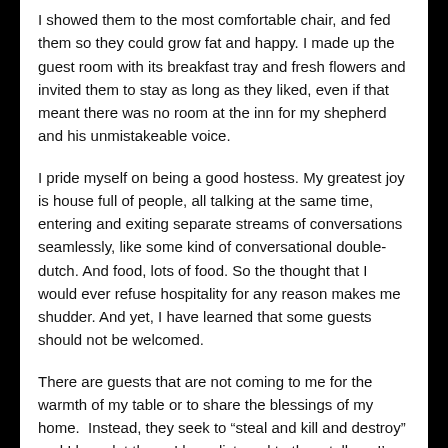I showed them to the most comfortable chair, and fed them so they could grow fat and happy. I made up the guest room with its breakfast tray and fresh flowers and invited them to stay as long as they liked, even if that meant there was no room at the inn for my shepherd and his unmistakeable voice.
I pride myself on being a good hostess. My greatest joy is house full of people, all talking at the same time, entering and exiting separate streams of conversations seamlessly, like some kind of conversational double-dutch. And food, lots of food. So the thought that I would ever refuse hospitality for any reason makes me shudder. And yet, I have learned that some guests should not be welcomed.
There are guests that are not coming to me for the warmth of my table or to share the blessings of my home.  Instead, they seek to “steal and kill and destroy” and I have let them. I have listened to them tell me I’m not enough or that I’m too much. I have been attentive to the